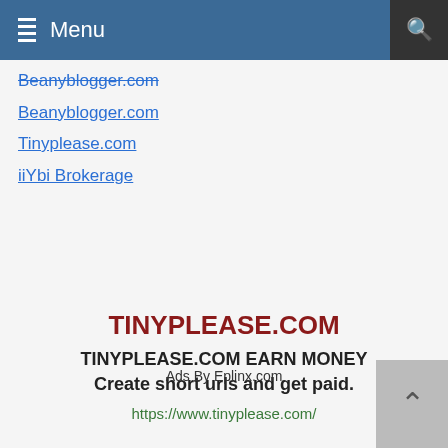Menu
Beanyblogger.com
Tinyplease.com
iiYbi Brokerage
TINYPLEASE.COM
TINYPLEASE.COM EARN MONEY Create short urls and get paid.
https://www.tinyplease.com/
Ads By Eplinx.com